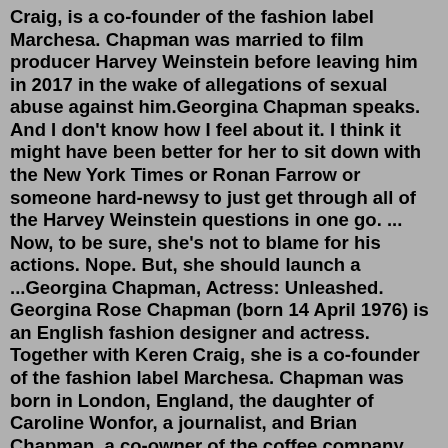Craig, is a co-founder of the fashion label Marchesa. Chapman was married to film producer Harvey Weinstein before leaving him in 2017 in the wake of allegations of sexual abuse against him.Georgina Chapman speaks. And I don't know how I feel about it. I think it might have been better for her to sit down with the New York Times or Ronan Farrow or someone hard-newsy to just get through all of the Harvey Weinstein questions in one go. ... Now, to be sure, she's not to blame for his actions. Nope. But, she should launch a ...Georgina Chapman, Actress: Unleashed. Georgina Rose Chapman (born 14 April 1976) is an English fashion designer and actress. Together with Keren Craig, she is a co-founder of the fashion label Marchesa. Chapman was born in London, England, the daughter of Caroline Wonfor, a journalist, and Brian Chapman, a co-owner of the coffee company Percol. Chapman grew up in Richmond, southwest ... May 19, 2022 · Georgina Rose Chapman was raised in Richmond, southwest London, with her younger brother Edward Chapman